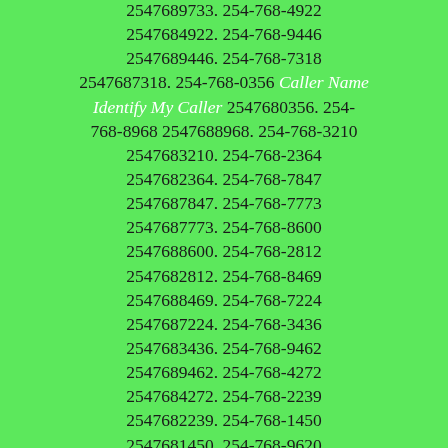2547689733. 254-768-4922 2547684922. 254-768-9446 2547689446. 254-768-7318 2547687318. 254-768-0356 Caller Name Identify My Caller 2547680356. 254-768-8968 2547688968. 254-768-3210 2547683210. 254-768-2364 2547682364. 254-768-7847 2547687847. 254-768-7773 2547687773. 254-768-8600 2547688600. 254-768-2812 2547682812. 254-768-8469 2547688469. 254-768-7224 2547687224. 254-768-3436 2547683436. 254-768-9462 2547689462. 254-768-4272 2547684272. 254-768-2239 2547682239. 254-768-1450 2547681450. 254-768-9620 2547689620. 254-768-0062 2547680062.  254-768-4134 2547684134. 254-768-0152 Caller Name Identify My Caller 2547680152. 254-768-3828 2547683828. 254-768-9361 2547689361. 254-768-6916 2547686916. 254-768-7459